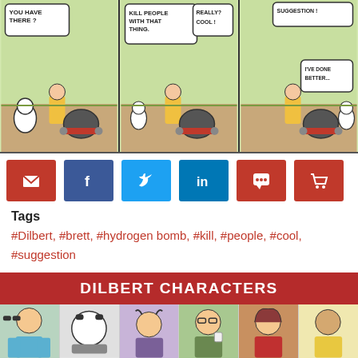[Figure (illustration): Three-panel Dilbert comic strip showing characters with speech bubbles about a hydrogen bomb toy]
[Figure (infographic): Social sharing buttons: email (red), Facebook (blue), Twitter (light blue), LinkedIn (blue), comment (red), cart (red)]
Tags
#Dilbert, #brett, #hydrogen bomb, #kill, #people, #cool, #suggestion
View Transcript
DILBERT CHARACTERS
[Figure (illustration): Row of six Dilbert character thumbnail images]